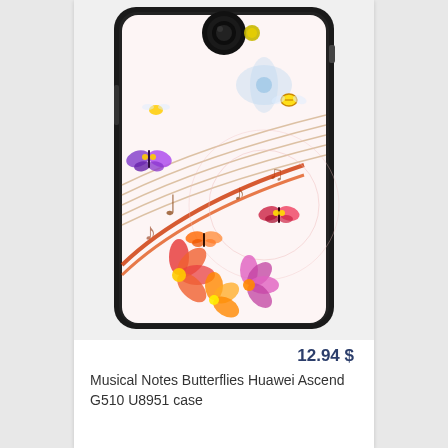[Figure (photo): A smartphone (Huawei Ascend G510 U8951) with a decorative phone case featuring musical notes, colorful butterflies, and vibrant flowers on a light pink/white background. The phone is shown from the back with a camera lens visible at the top.]
12.94 $
Musical Notes Butterflies Huawei Ascend G510 U8951 case